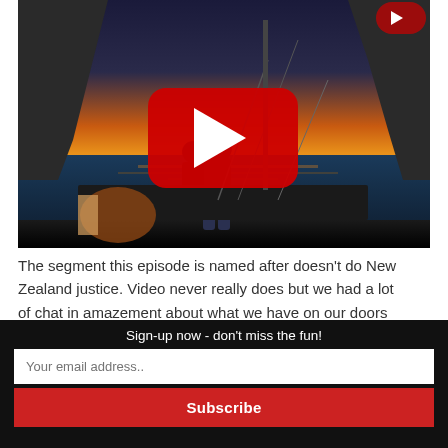[Figure (screenshot): YouTube video thumbnail showing a person on a boat deck at sunset near rocky cliffs, with a large red YouTube play button overlay in the center]
The segment this episode is named after doesn't do New Zealand justice. Video never really does but we had a lot of chat in amazement about what we have on our doors
Sign-up now - don't miss the fun!
Your email address..
Subscribe